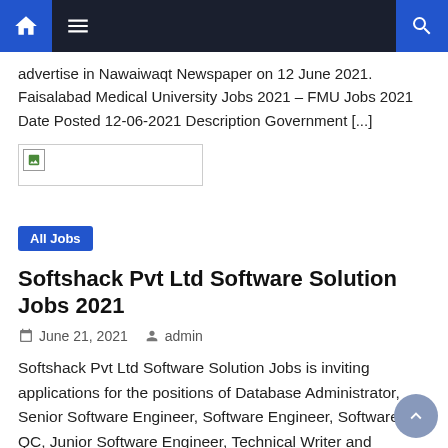Navigation bar with home, menu, and search icons
advertise in Nawaiwaqt Newspaper on 12 June 2021. Faisalabad Medical University Jobs 2021 – FMU Jobs 2021 Date Posted 12-06-2021 Description Government [...]
[Figure (other): Broken/placeholder image thumbnail]
All Jobs
Softshack Pvt Ltd Software Solution Jobs 2021
June 21, 2021   admin
Softshack Pvt Ltd Software Solution Jobs is inviting applications for the positions of Database Administrator, Senior Software Engineer, Software Engineer, Software QC, Junior Software Engineer, Technical Writer and Manager